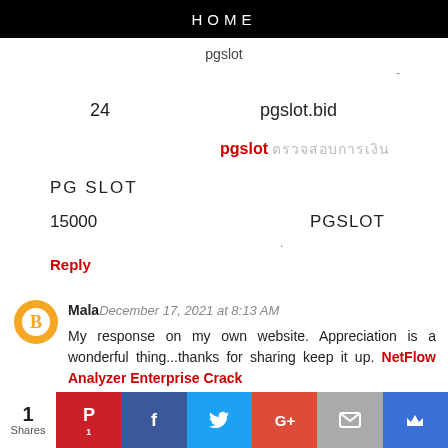HOME
pgslot
-
24
pgslot.bid
pgslot ตรวจสอบการเงิน
PG SLOT
15000 PGSLOT
.
Reply
Mala December 17, 2021 at 8:13 AM
My response on my own website. Appreciation is a wonderful thing...thanks for sharing keep it up. NetFlow Analyzer Enterprise Crack
Reply
1 Shares